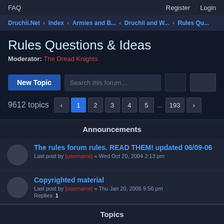FAQ    Register   Login
Druchii.Net ‹ Index ‹ Armies and B... ‹ Druchii and W... ‹ Rules Qu...
Rules Questions & Ideas
Moderator: The Dread Knights
New Topic  Search this forum…  9612 topics  1 2 3 4 5 ... 193
Announcements
The rules forum rules. READ THEM! updated 06/09-06
Last post by [username] « Wed Oct 20, 2004 2:13 pm
Copyrighted material
Last post by [username] « Thu Jan 20, 2005 9:56 pm
Replies: 1
Topics
Druchii.i READ FAQ dis...